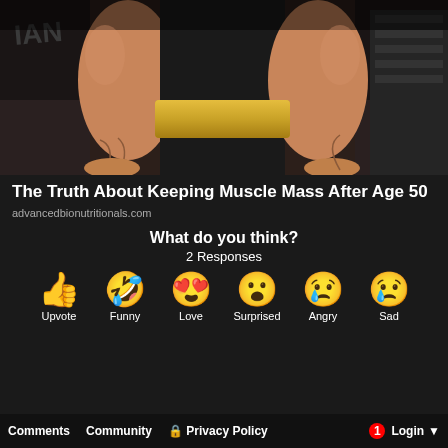[Figure (photo): Muscular person in a gym wearing a black tank top and gold weightlifting belt, showing large arms and forearms, gym equipment in background]
The Truth About Keeping Muscle Mass After Age 50
advancedbionutritionals.com
What do you think?
2 Responses
Upvote
Funny
Love
Surprised
Angry
Sad
Comments   Community   Privacy Policy   1   Login